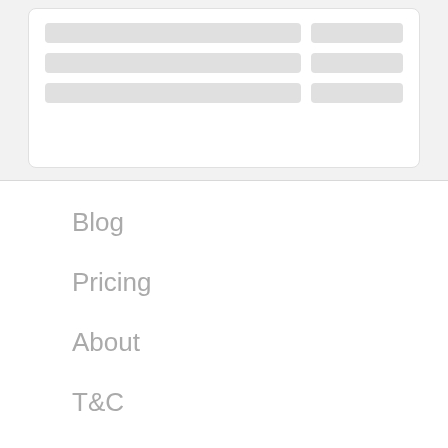[Figure (screenshot): A card UI component with two columns of gray placeholder bars showing loading skeleton state, on a light gray background]
Blog
Pricing
About
T&C
Privacy
Help